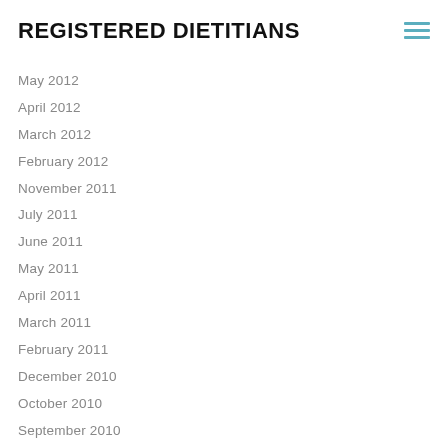REGISTERED DIETITIANS
May 2012
April 2012
March 2012
February 2012
November 2011
July 2011
June 2011
May 2011
April 2011
March 2011
February 2011
December 2010
October 2010
September 2010
July 2010